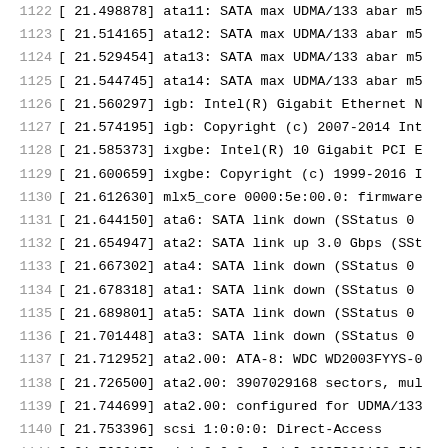1122 [   21.498878] ata11: SATA max UDMA/133 abar m5
1123 [   21.514165] ata12: SATA max UDMA/133 abar m5
1124 [   21.529454] ata13: SATA max UDMA/133 abar m5
1125 [   21.544745] ata14: SATA max UDMA/133 abar m5
1126 [   21.560297] igb: Intel(R) Gigabit Ethernet N
1127 [   21.574195] igb: Copyright (c) 2007-2014 Int
1128 [   21.585373] ixgbe: Intel(R) 10 Gigabit PCI E
1129 [   21.600659] ixgbe: Copyright (c) 1999-2016 I
1130 [   21.612630] mlx5_core 0000:5e:00.0: firmware
1131 [   21.644150] ata6: SATA link down (SStatus 0
1132 [   21.654947] ata2: SATA link up 3.0 Gbps (SSt
1133 [   21.667302] ata4: SATA link down (SStatus 0
1134 [   21.678318] ata1: SATA link down (SStatus 0
1135 [   21.689801] ata5: SATA link down (SStatus 0
1136 [   21.701448] ata3: SATA link down (SStatus 0
1137 [   21.712952] ata2.00: ATA-8: WDC WD2003FYYS-0
1138 [   21.726500] ata2.00: 3907029168 sectors, mul
1139 [   21.744699] ata2.00: configured for UDMA/133
1140 [   21.753396] scsi 1:0:0:0: Direct-Access
1141 [   21.769615] sd 1:0:0:0: [sda] 3907029168 512
1142 [   21.785078] sd 1:0:0:0: [sda] Write Protect